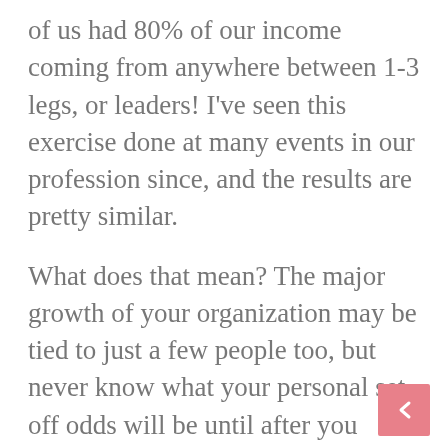of us had 80% of our income coming from anywhere between 1-3 legs, or leaders! I've seen this exercise done at many events in our profession since, and the results are pretty similar.
What does that mean? The major growth of your organization may be tied to just a few people too, but never know what your personal set off odds will be until after you succeed. You don't know how many conversations you'll have, or how many people will join you before you find “gold”! So get ready to talk it up! The more people you share with, the better your odds of finding your power partners!